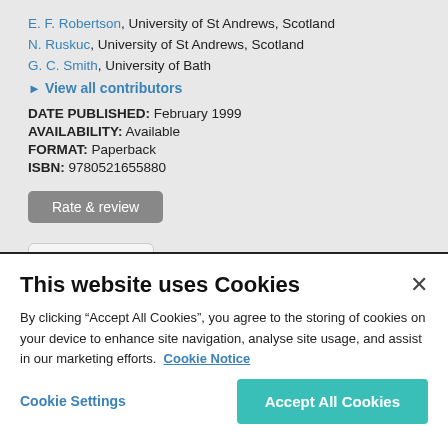E. F. Robertson, University of St Andrews, Scotland
N. Ruskuc, University of St Andrews, Scotland
G. C. Smith, University of Bath
View all contributors
DATE PUBLISHED: February 1999
AVAILABILITY: Available
FORMAT: Paperback
ISBN: 9780521655880
[Figure (screenshot): Rate & review button (grey) and Google Preview button]
This website uses Cookies
By clicking “Accept All Cookies”, you agree to the storing of cookies on your device to enhance site navigation, analyse site usage, and assist in our marketing efforts. Cookie Notice
Cookie Settings
Accept All Cookies